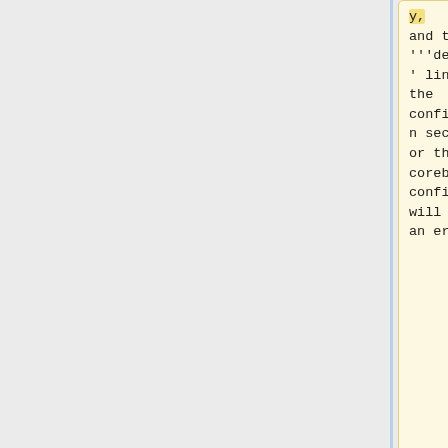and the '''default''' line into the configuration section, or the coreboot config tool will print an error.
and the '''default''' line into the configuration section, or the coreboot config tool will print an error.
Compiling coreboot with debugging symbols might help:
Compiling coreboot with debugging symbols might help: